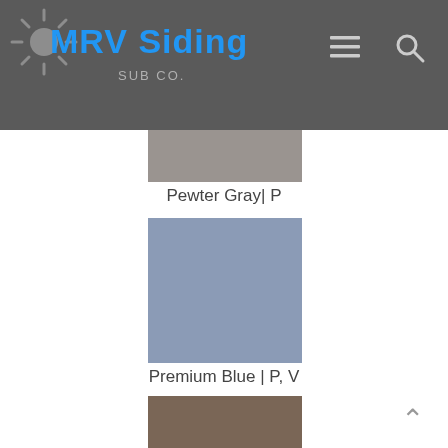[Figure (logo): MRV Siding logo with sun icon and blue text on gray header bar]
[Figure (illustration): Pewter Gray color swatch - medium gray rectangle]
Pewter Gray| P
[Figure (illustration): Premium Blue color swatch - muted blue-gray rectangle]
Premium Blue | P, V
[Figure (illustration): Brown/taupe color swatch - partially visible at bottom]